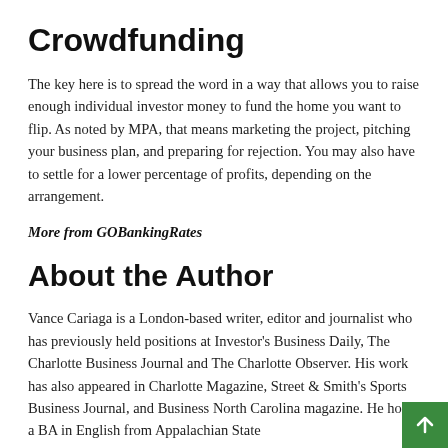Crowdfunding
The key here is to spread the word in a way that allows you to raise enough individual investor money to fund the home you want to flip. As noted by MPA, that means marketing the project, pitching your business plan, and preparing for rejection. You may also have to settle for a lower percentage of profits, depending on the arrangement.
More from GOBankingRates
About the Author
Vance Cariaga is a London-based writer, editor and journalist who has previously held positions at Investor's Business Daily, The Charlotte Business Journal and The Charlotte Observer. His work has also appeared in Charlotte Magazine, Street & Smith's Sports Business Journal, and Business North Carolina magazine. He holds a BA in English from Appalachian State